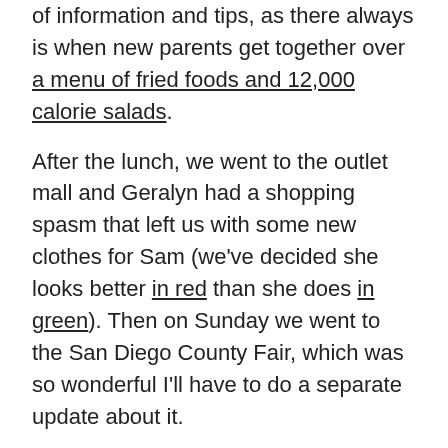of information and tips, as there always is when new parents get together over a menu of fried foods and 12,000 calorie salads.
After the lunch, we went to the outlet mall and Geralyn had a shopping spasm that left us with some new clothes for Sam (we've decided she looks better in red than she does in green). Then on Sunday we went to the San Diego County Fair, which was so wonderful I'll have to do a separate update about it.
Until next week, here's some new pics:
[Figure (photo): Broken image placeholder icon (top-left corner icon), first photo]
[Figure (photo): Broken image placeholder icon (top-left corner icon), second photo]
[Figure (photo): Broken image placeholder icon (top-left corner icon), third photo]